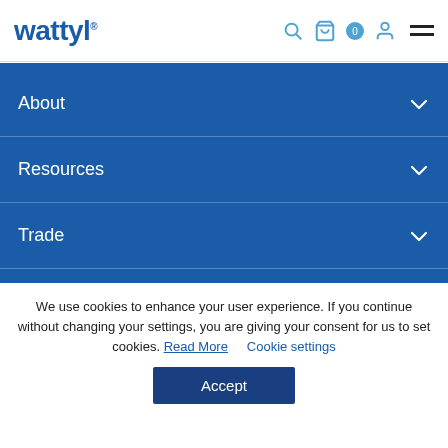wattyl® [search icon] [bag icon] [user icon] [menu icon]
About
Resources
Trade
Design Professionals
Contact
We use cookies to enhance your user experience. If you continue without changing your settings, you are giving your consent for us to set cookies. Read More   Cookie settings
Accept